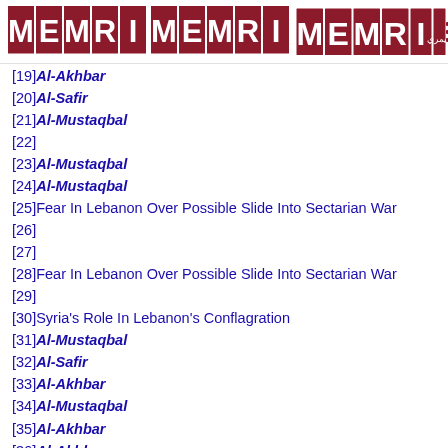MEMRI logo and navigation
[19] Al-Akhbar
[20] Al-Safir
[21] Al-Mustaqbal
[22]
[23] Al-Mustaqbal
[24] Al-Mustaqbal
[25] Fear In Lebanon Over Possible Slide Into Sectarian War
[26]
[27]
[28] Fear In Lebanon Over Possible Slide Into Sectarian War
[29]
[30] Syria's Role In Lebanon's Conflagration
[31] Al-Mustaqbal
[32] Al-Safir
[33] Al-Akhbar
[34] Al-Mustaqbal
[35] Al-Akhbar
[36] Al-Akhbar